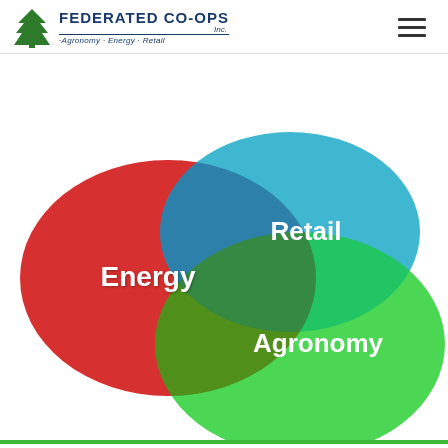[Figure (logo): Federated Co-ops Inc. logo with pine tree icon and tagline Agronomy · Energy · Retail]
[Figure (infographic): Three-circle Venn diagram showing the three business areas of Federated Co-ops: Energy (red, left), Retail (blue, top right), and Agronomy (green, bottom right), overlapping in the center]